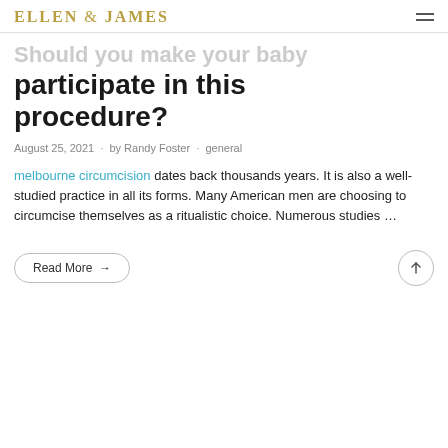ELLEN & JAMES
participate in this procedure?
August 25, 2021  ·  by Randy Foster  ·  general
melbourne circumcision dates back thousands years. It is also a well-studied practice in all its forms. Many American men are choosing to circumcise themselves as a ritualistic choice. Numerous studies …
Read More →